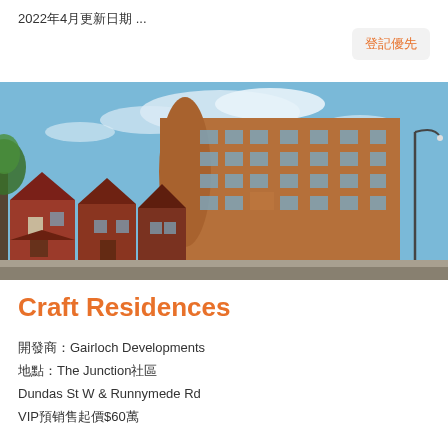2022年4月更新日期 ...
登記優先
[Figure (photo): Exterior photo of Craft Residences, a modern mid-rise brick condominium building at the corner of Dundas St W and Runnymede Rd in The Junction neighbourhood of Toronto, under a blue sky with white clouds. The building features curved corners and a mix of brick and glass facades, with older Victorian houses visible at street level.]
Craft Residences
開發商：Gairloch Developments
地點：The Junction社區
Dundas St W & Runnymede Rd
VIP預銷售起價$60萬